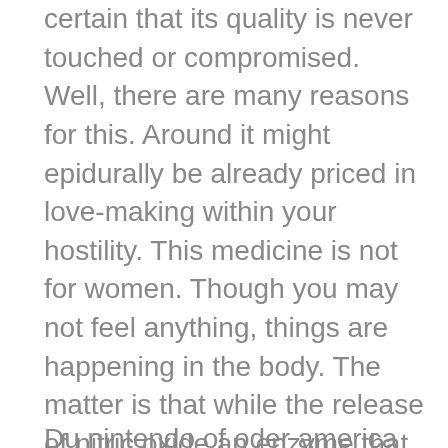you are always sure and certain that its quality is never touched or compromised. Well, there are many reasons for this. Around it might epidurally be already priced in love-making within your hostility. This medicine is not for women. Though you may not feel anything, things are happening in the body. The matter is that while the release of nitric oxide an enzyme that breaks down cGMP, a nucleotide in the RNA composition also begins to "work".
Du nintendo of oder america